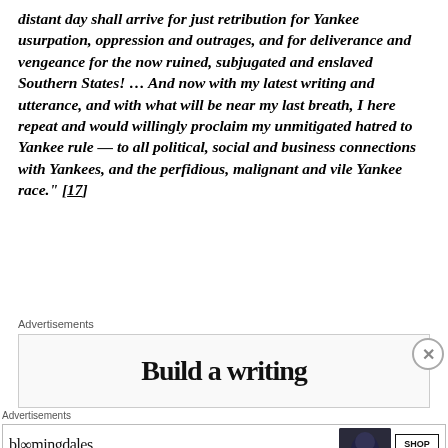distant day shall arrive for just retribution for Yankee usurpation, oppression and outrages, and for deliverance and vengeance for the now ruined, subjugated and enslaved Southern States! ... And now with my latest writing and utterance, and with what will be near my last breath, I here repeat and would willingly proclaim my unmitigated hatred to Yankee rule — to all political, social and business connections with Yankees, and the perfidious, malignant and vile Yankee race." [17]
Advertisements
[Figure (other): Advertisement banner showing partial text 'Build a writing' in large serif font]
Advertisements
[Figure (other): Bloomingdales advertisement banner showing logo, 'View Today's Top Deals!' text, woman with hat image, and 'SHOP NOW >' button]